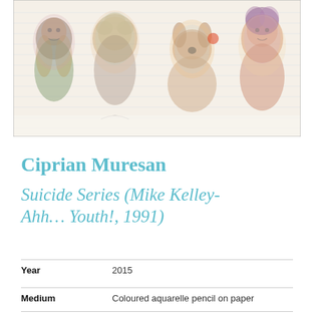[Figure (illustration): Artwork image showing four panels with colorful watercolor/pencil figures including people and animals on lined paper background]
Ciprian Muresan
Suicide Series (Mike Kelley-Ahh… Youth!, 1991)
| Year | 2015 |
| Medium | Coloured aquarelle pencil on paper |